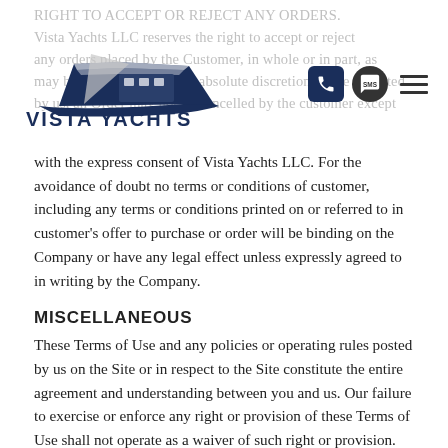RIGHT TO ACCEPT OR REJECT ANY ORDERS. Vista Yachts LLC reserves the right to accept or reject any orders placed by the Customer, in whole or in part, as may be received by it in its absolute discretion. Once accepted by us, an Order may not be cancelled by the customer except
[Figure (logo): Vista Yachts LLC logo with stylized yacht graphic and VISTA YACHTS text]
with the express consent of Vista Yachts LLC. For the avoidance of doubt no terms or conditions of customer, including any terms or conditions printed on or referred to in customer's offer to purchase or order will be binding on the Company or have any legal effect unless expressly agreed to in writing by the Company.
MISCELLANEOUS
These Terms of Use and any policies or operating rules posted by us on the Site or in respect to the Site constitute the entire agreement and understanding between you and us. Our failure to exercise or enforce any right or provision of these Terms of Use shall not operate as a waiver of such right or provision. These Terms of Use operate to the fullest extent permissible by